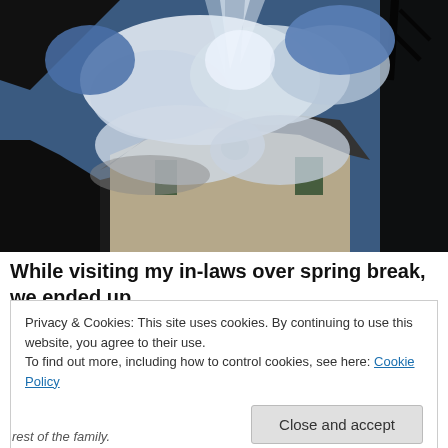[Figure (photo): Upward-angle photograph of a two-story stucco house with a tiled roof, dramatic cloudy sky with sun rays breaking through clouds, dark tree silhouette in upper right corner.]
While visiting my in-laws over spring break, we ended up
Privacy & Cookies: This site uses cookies. By continuing to use this website, you agree to their use.
To find out more, including how to control cookies, see here: Cookie Policy
Close and accept
rest of the family.